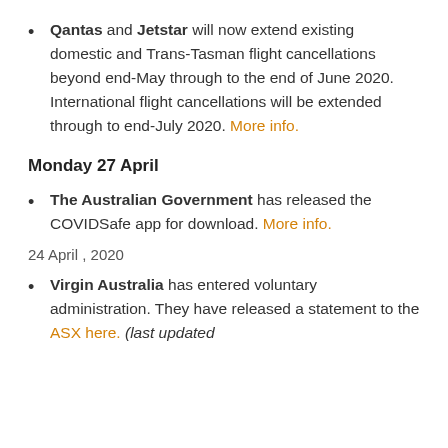Qantas and Jetstar will now extend existing domestic and Trans-Tasman flight cancellations beyond end-May through to the end of June 2020. International flight cancellations will be extended through to end-July 2020. More info.
Monday 27 April
The Australian Government has released the COVIDSafe app for download. More info.
24 April , 2020
Virgin Australia has entered voluntary administration. They have released a statement to the ASX here. (last updated